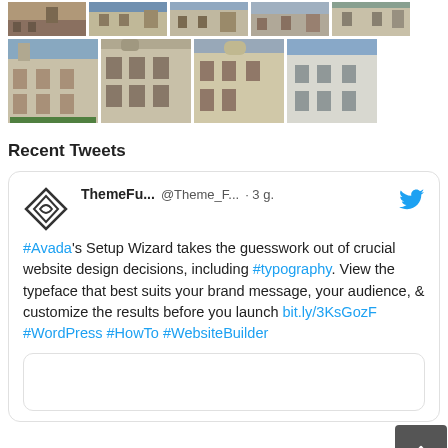[Figure (photo): Row of building thumbnail photos (partial, top of page)]
[Figure (photo): Grid of 4 building photos showing European-style architecture]
Recent Tweets
ThemeFu... @Theme_F... · 3 g. #Avada's Setup Wizard takes the guesswork out of crucial website design decisions, including #typography. View the typeface that best suits your brand message, your audience, & customize the results before you launch bit.ly/3KsGozF #WordPress #HowTo #WebsiteBuilder